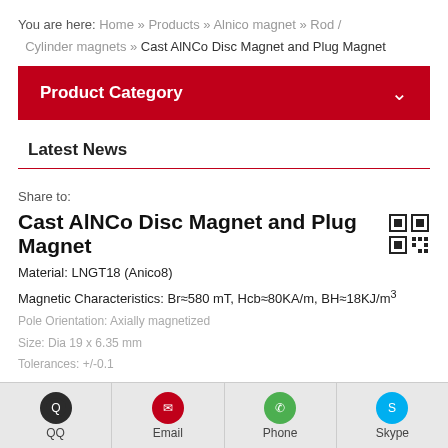You are here: Home » Products » Alnico magnet » Rod / Cylinder magnets » Cast AlNCo Disc Magnet and Plug Magnet
Product Category
Latest News
Share to:
Cast AlNCo Disc Magnet and Plug Magnet
Material: LNGT18 (Anico8)
Magnetic Characteristics: Br≈580 mT, Hcb≈80KA/m, BH≈18KJ/m³
Pole Orientation: Axially magnetized
Size: Dia 19 x 6.35 mm
Tolerances: +/-0.1